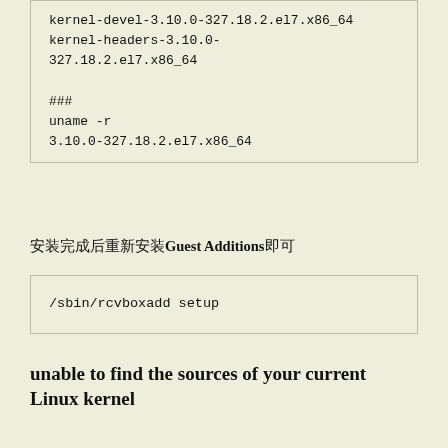[Figure (screenshot): Code block showing kernel package names and uname output]
安装完成后重新安装Guest Additions即可
[Figure (screenshot): Code block showing /sbin/rcvboxadd setup command]
unable to find the sources of your current Linux kernel